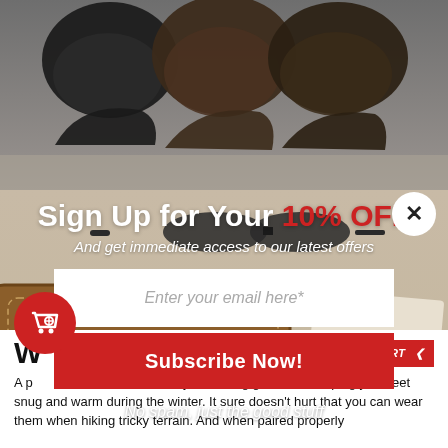[Figure (photo): Background photo of leather shoes at top and tan leather wallet, sunglasses, and a pen/stylus on a surface below]
Sign Up for Your 10% OFF
And get immediate access to our latest offers
Enter your email here*
Subscribe Now!
No spam, just the good stuff
Wo   Boots
A pair of mens ankle boots is key to looking good and keeping your feet snug and warm during the winter. It sure doesn't hurt that you can wear them when hiking tricky terrain. And when paired properly